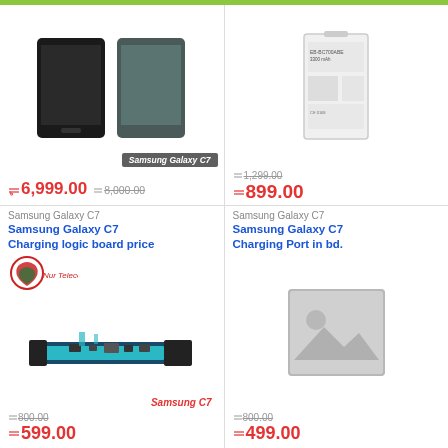[Figure (photo): Samsung Galaxy C7 LCD screen display (black and teal variants)]
Samsung Galaxy C7
৳6,999.00 ৳8,000.00
[Figure (photo): Samsung Galaxy C7 battery]
৳1,299.00
৳899.00
Samsung Galaxy C7
Samsung Galaxy C7 Charging logic board price
[Figure (logo): Nur Telecom logo]
[Figure (photo): Samsung C7 charging board flex cable]
Samsung C7
৳800.00
৳599.00
Samsung Galaxy C7
Samsung Galaxy C7 Charging Port in bd.
[Figure (photo): Placeholder image for product]
৳800.00
৳499.00